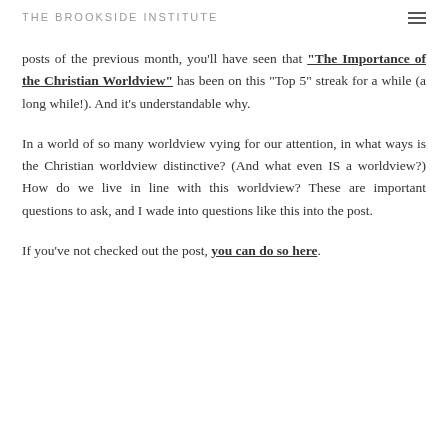THE BROOKSIDE INSTITUTE
posts of the previous month, you'll have seen that "The Importance of the Christian Worldview" has been on this "Top 5" streak for a while (a long while!). And it's understandable why.
In a world of so many worldview vying for our attention, in what ways is the Christian worldview distinctive? (And what even IS a worldview?) How do we live in line with this worldview? These are important questions to ask, and I wade into questions like this into the post.
If you've not checked out the post, you can do so here.